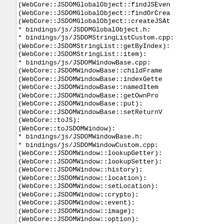(WebCore::JSDOMGlobalObject::findJSEven
(WebCore::JSDOMGlobalObject::findOrCrea
(WebCore::JSDOMGlobalObject::createJSAt
* bindings/js/JSDOMGlobalObject.h:
* bindings/js/JSDOMStringListCustom.cpp:
(WebCore::JSDOMStringList::getByIndex):
(WebCore::JSDOMStringList::item):
* bindings/js/JSDOMWindowBase.cpp:
(WebCore::JSDOMWindowBase::childFrame
(WebCore::JSDOMWindowBase::indexGette
(WebCore::JSDOMWindowBase::namedItem
(WebCore::JSDOMWindowBase::getOwnPro
(WebCore::JSDOMWindowBase::put):
(WebCore::JSDOMWindowBase::setReturnV
(WebCore::toJS):
(WebCore::toJSDOMWindow):
* bindings/js/JSDOMWindowBase.h:
* bindings/js/JSDOMWindowCustom.cpp:
(WebCore::JSDOMWindow::lookupGetter):
(WebCore::JSDOMWindow::lookupSetter):
(WebCore::JSDOMWindow::history):
(WebCore::JSDOMWindow::location):
(WebCore::JSDOMWindow::setLocation):
(WebCore::JSDOMWindow::crypto):
(WebCore::JSDOMWindow::event):
(WebCore::JSDOMWindow::image):
(WebCore::JSDOMWindow::option):
(WebCore::JSDOMWindow::audio):
(WebCore::JSDOMWindow::webKitPoint):
(WebCore::JSDOMWindow::webKitCSSMatri